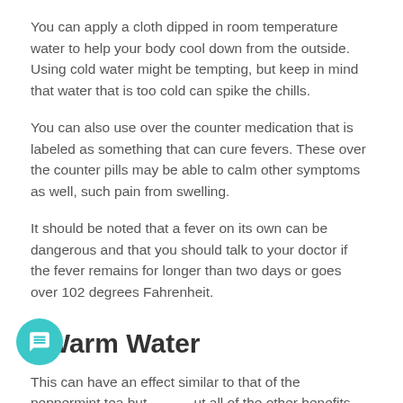You can apply a cloth dipped in room temperature water to help your body cool down from the outside. Using cold water might be tempting, but keep in mind that water that is too cold can spike the chills.
You can also use over the counter medication that is labeled as something that can cure fevers. These over the counter pills may be able to calm other symptoms as well, such pain from swelling.
It should be noted that a fever on its own can be dangerous and that you should talk to your doctor if the fever remains for longer than two days or goes over 102 degrees Fahrenheit.
7. Warm Water
This can have an effect similar to that of the peppermint tea but without all of the other benefits. The warm water will still help to break up mucus and it can warm up your body a bit from inside if you have the chills.